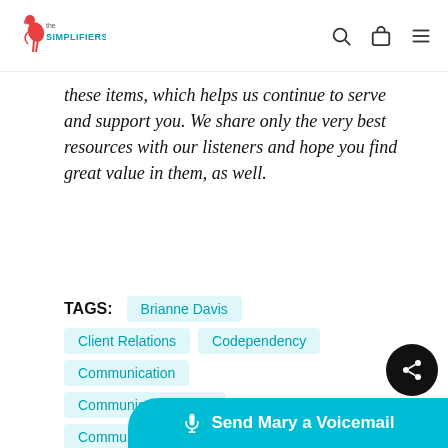The Simplifiers logo, search icon, bag icon, menu icon
these items, which helps us continue to serve and support you. We share only the very best resources with our listeners and hope you find great value in them, as well.
TAGS: Brianne Davis, Client Relations, Codependency, Communication, Communication Skills, Communication T...